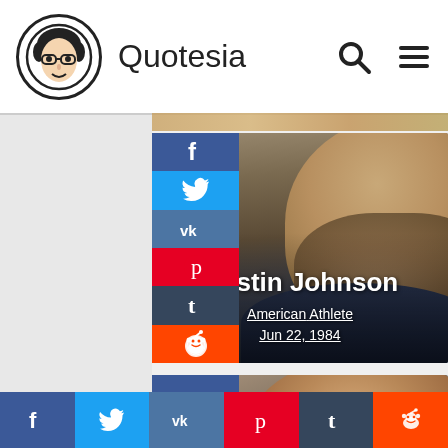Quotesia
[Figure (photo): Photo of Dustin Johnson, American golfer. Card showing name 'Dustin Johnson', description 'American Athlete', date 'Jun 22, 1984' with social media share buttons (Facebook, Twitter, VK, Pinterest, Tumblr, Reddit)]
[Figure (photo): Partial photo of another person, partially visible at bottom of page]
Social share bar: Facebook, Twitter, VK, Pinterest, Tumblr, Reddit